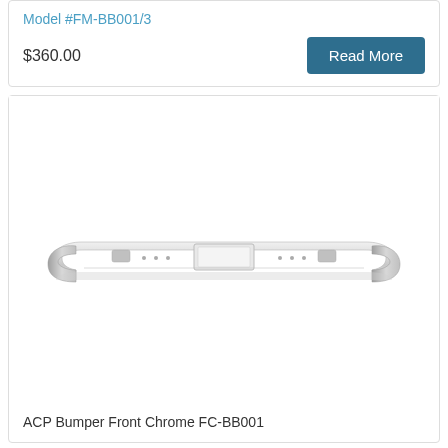Model #FM-BB001/3
$360.00
Read More
[Figure (photo): Chrome front bumper product photo - ACP Bumper Front Chrome FC-BB001, a wide chrome automotive bumper with rounded ends and a center license plate holder area]
ACP Bumper Front Chrome FC-BB001